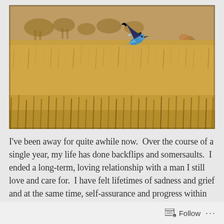[Figure (photo): A blue bird (roller bird) in flight over a golden savanna grassland with blurred impala antelopes in the background]
I've been away for quite awhile now.  Over the course of a single year, my life has done backflips and somersaults.  I ended a long-term, loving relationship with a man I still love and care for.  I have felt lifetimes of sadness and grief and at the same time, self-assurance and progress within myself.  I've felt the spark of new love, of partnership, and of destiny.  I've gotten married, moved, adopted two furry babies, seen my Dad in the
Follow ...